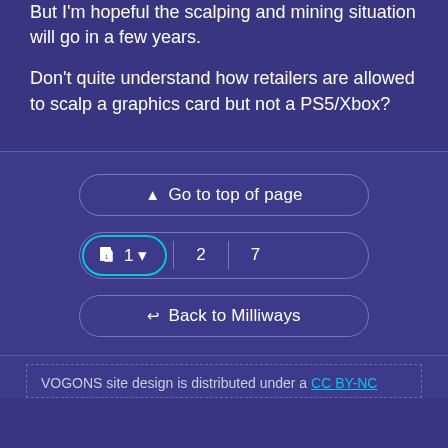But I'm hopeful the scalping and mining situation will go in a few years.
Don't quite understand how retailers are allowed to scalp a graphics card but not a PS5/Xbox?
[Figure (screenshot): Navigation UI with three buttons: 'Go to top of page', a pagination control showing page 1 (active, highlighted in cyan), 2, 7, and 'Back to Milliways']
VOGONS site design is distributed under a CC BY-NC